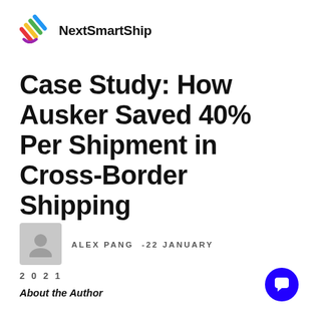[Figure (logo): NextSmartShip logo with colorful diagonal stripes icon and bold brand name]
Case Study: How Ausker Saved 40% Per Shipment in Cross-Border Shipping
ALEX PANG  -22 JANUARY 2021
About the Author